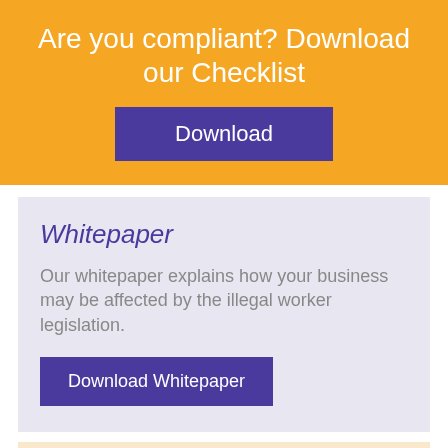Are you compliant? Download our Checklist
Download
Whitepaper
Our whitepaper explains how your business may be affected by the illegal worker legislation.
Download Whitepaper
Webinar